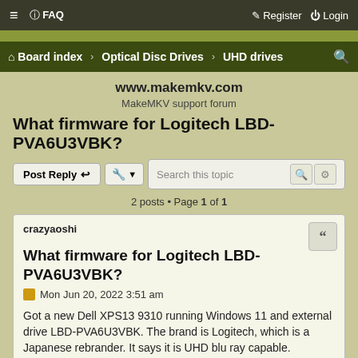≡  FAQ   Register  Login
Board index › Optical Disc Drives › UHD drives
www.makemkv.com
MakeMKV support forum
What firmware for Logitech LBD-PVA6U3VBK?
Post Reply  [tools]  Search this topic
2 posts • Page 1 of 1
crazyaoshi
What firmware for Logitech LBD-PVA6U3VBK?
Mon Jun 20, 2022 3:51 am
Got a new Dell XPS13 9310 running Windows 11 and external drive LBD-PVA6U3VBK. The brand is Logitech, which is a Japanese rebrander. It says it is UHD blu ray capable.